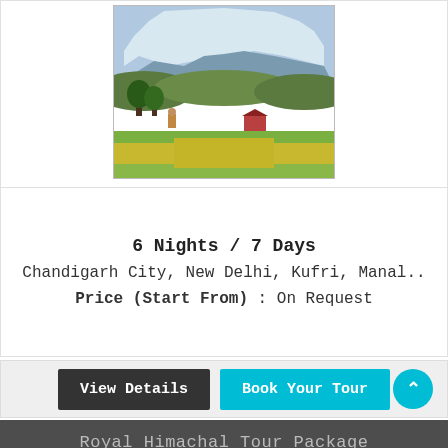[Figure (photo): Mountain landscape with snow-capped peak, green fields, trees and farm structures in foreground]
6 Nights / 7 Days
Chandigarh City, New Delhi, Kufri, Manal..
Price (Start From) : On Request
View Details
Book Your Tour
Royal Himachal Tour Package
[Figure (photo): Waterfall surrounded by lush green forest and vegetation]